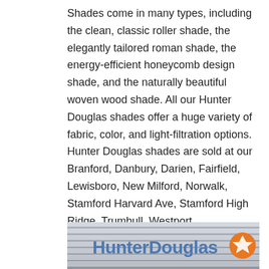Shades come in many types, including the clean, classic roller shade, the elegantly tailored roman shade, the energy-efficient honeycomb design shade, and the naturally beautiful woven wood shade. All our Hunter Douglas shades offer a huge variety of fabric, color, and light-filtration options. Hunter Douglas shades are sold at our Branford, Danbury, Darien, Fairfield, Lewisboro, New Milford, Norwalk, Stamford Harvard Ave, Stamford High Ridge, Trumbull, Westport, Wethersfield, and Wilton locations.
[Figure (photo): Partial view of a Hunter Douglas store sign/logo — blue text 'HunterDouglas' with orange circular icon, against a background showing horizontal window blind slats in grey/silver tones.]